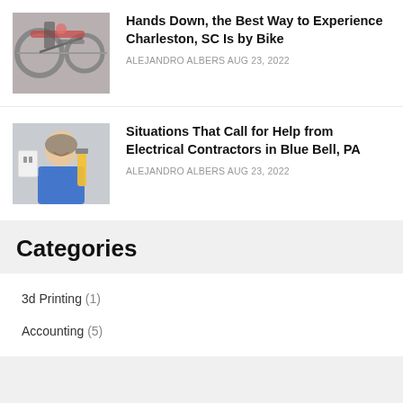[Figure (photo): Hands working on bicycle parts close-up]
Hands Down, the Best Way to Experience Charleston, SC Is by Bike
ALEJANDRO ALBERS AUG 23, 2022
[Figure (photo): Smiling electrician in blue shirt working with electrical equipment]
Situations That Call for Help from Electrical Contractors in Blue Bell, PA
ALEJANDRO ALBERS AUG 23, 2022
Categories
3d Printing (1)
Accounting (5)